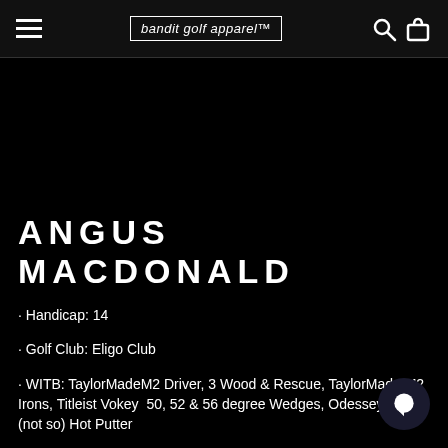bandit golf apparel™
ANGUS MACDONALD
· Handicap: 14
· Golf Club: Eligo Club
· WITB: TaylorMadeM2 Driver, 3 Wood & Rescue, TaylorMade M2 Irons, Titleist Vokey  50, 52 & 56 degree Wedges, Odessey Red (not so) Hot Putter
· Instagram: angusmac15
· Twitter: @angus_mac15